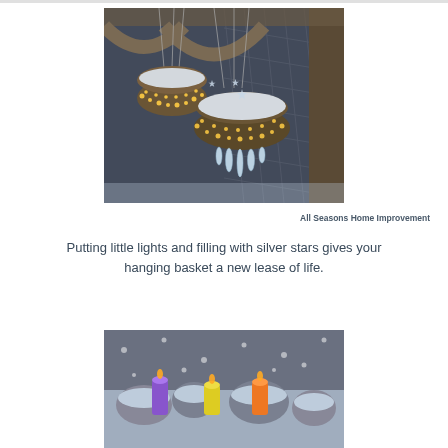[Figure (photo): Two hanging baskets filled with silver star decorations and small warm fairy lights, covered in snow, hanging from a wooden pergola structure in winter. Icicles hang from one basket.]
All Seasons Home Improvement
Putting little lights and filling with silver stars gives your hanging basket a new lease of life.
[Figure (photo): Snow-covered outdoor scene with colorful candles or decorations partially visible at the bottom of the frame, set against a snowy background.]